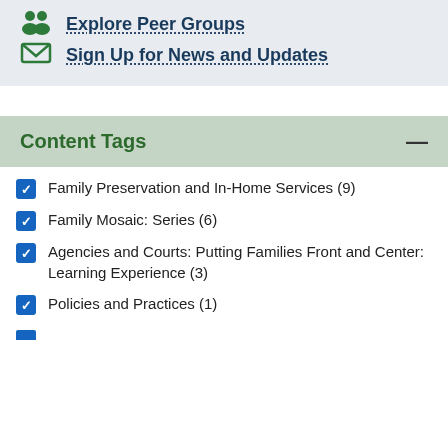Explore Peer Groups
Sign Up for News and Updates
Content Tags
Family Preservation and In-Home Services (9)
Family Mosaic: Series (6)
Agencies and Courts: Putting Families Front and Center: Learning Experience (3)
Policies and Practices (1)